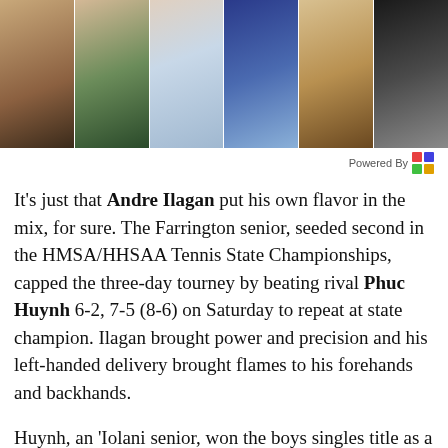[Figure (photo): A collage/strip of sports action photos showing various athletes including basketball players, a football player in blue and gold helmet, and a volleyball player.]
Powered By
It's just that Andre Ilagan put his own flavor in the mix, for sure. The Farrington senior, seeded second in the HMSA/HHSAA Tennis State Championships, capped the three-day tourney by beating rival Phuc Huynh 6-2, 7-5 (8-6) on Saturday to repeat at state champion. Ilagan brought power and precision and his left-handed delivery brought flames to his forehands and backhands.
Huynh, an 'Iolani senior, won the boys singles title as a sophomore. Ilagan took the crown last season while both were juniors. Then Huynh beat Ilagan in a January tourney. Huynh's quickness and precision are matched